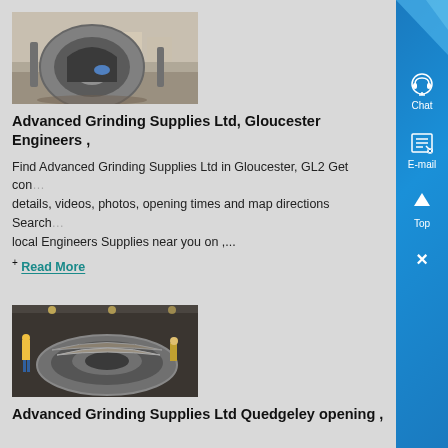[Figure (photo): Industrial machine parts - large grey metal wheel/drum equipment outdoors]
Advanced Grinding Supplies Ltd, Gloucester Engineers ,
Find Advanced Grinding Supplies Ltd in Gloucester, GL2 Get contact details, videos, photos, opening times and map directions Search for local Engineers Supplies near you on ,...
+ Read More
[Figure (photo): Industrial grinding mill parts - large metal ring/gear component inside a factory with workers nearby]
Advanced Grinding Supplies Ltd Quedgeley opening ,